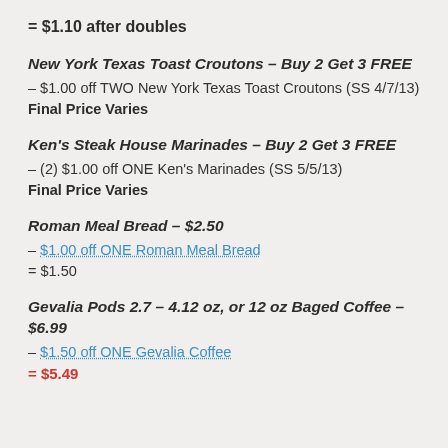= $1.10 after doubles
New York Texas Toast Croutons – Buy 2 Get 3 FREE
– $1.00 off TWO New York Texas Toast Croutons (SS 4/7/13)
Final Price Varies
Ken's Steak House Marinades – Buy 2 Get 3 FREE
– (2) $1.00 off ONE Ken's Marinades (SS 5/5/13)
Final Price Varies
Roman Meal Bread – $2.50
– $1.00 off ONE Roman Meal Bread
= $1.50
Gevalia Pods 2.7 – 4.12 oz, or 12 oz Baged Coffee – $6.99
– $1.50 off ONE Gevalia Coffee
= $5.49